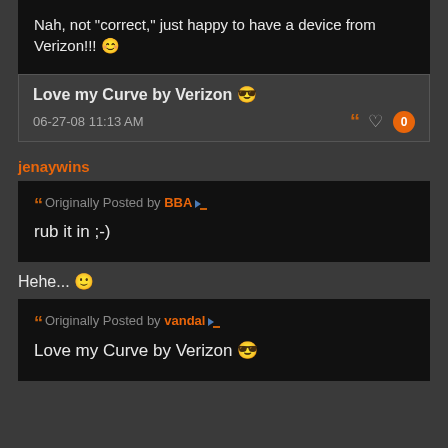Nah, not "correct," just happy to have a device from Verizon!!! 😊
Love my Curve by Verizon 😎
06-27-08 11:13 AM
jenaywins
Originally Posted by BBA
rub it in ;-)
Hehe... 🙂
Originally Posted by vandal
Love my Curve by Verizon 😎